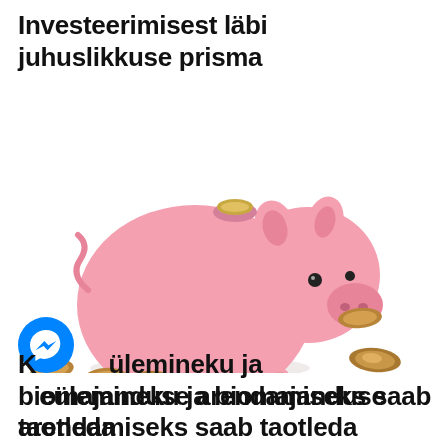Investeerimisest läbi juhuslikkuse prisma
[Figure (photo): A pink piggy bank surrounded by scattered euro coins on a white background. A gold coin is being inserted into the slot on top of the piggy bank.]
Kliimaeülemineku ja biomajanduse arendamiseks saab taotleda